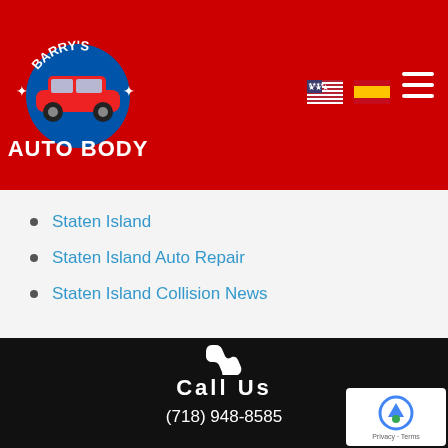[Figure (logo): Barry's Auto Body logo with red car on blue circle, white text on red background]
[Figure (infographic): US flag icon and Spanish flag icon navigation elements, hamburger menu icon on red header]
Staten Island
Staten Island Auto Repair
Staten Island Collision News
[Figure (infographic): White phone icon on black background]
Call Us
(718) 948-8585
[Figure (infographic): White location/map pin icon at bottom of black section]
[Figure (infographic): reCAPTCHA badge with Privacy and Terms links]